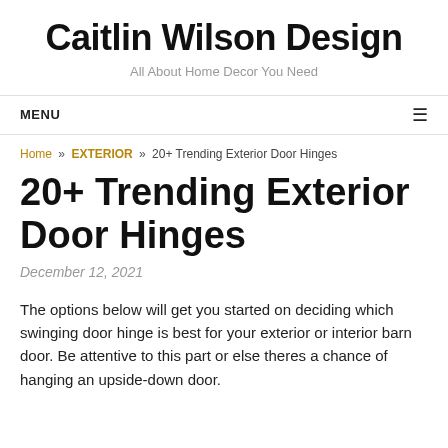Caitlin Wilson Design
All About Home Decor You Need
MENU ≡
Home » EXTERIOR » 20+ Trending Exterior Door Hinges
20+ Trending Exterior Door Hinges
December 12, 2021
The options below will get you started on deciding which swinging door hinge is best for your exterior or interior barn door. Be attentive to this part or else theres a chance of hanging an upside-down door.